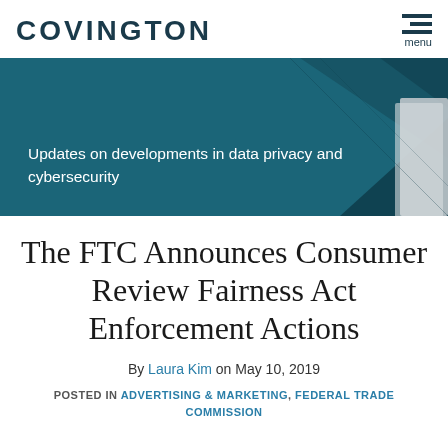COVINGTON
[Figure (illustration): Teal banner with text 'Updates on developments in data privacy and cybersecurity' and geometric dark shapes on the right side]
The FTC Announces Consumer Review Fairness Act Enforcement Actions
By Laura Kim on May 10, 2019
POSTED IN ADVERTISING & MARKETING, FEDERAL TRADE COMMISSION